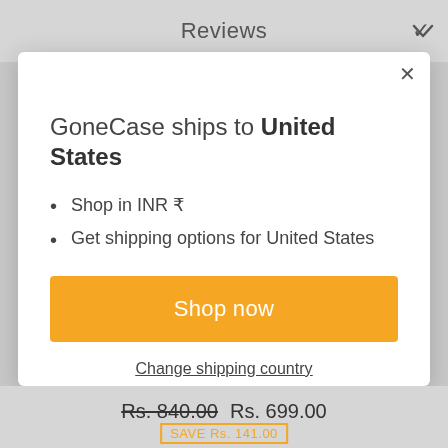Reviews
GoneCase ships to United States
Shop in INR ₹
Get shipping options for United States
Shop now
Change shipping country
Rs. 840.00  Rs. 699.00
SAVE Rs. 141.00